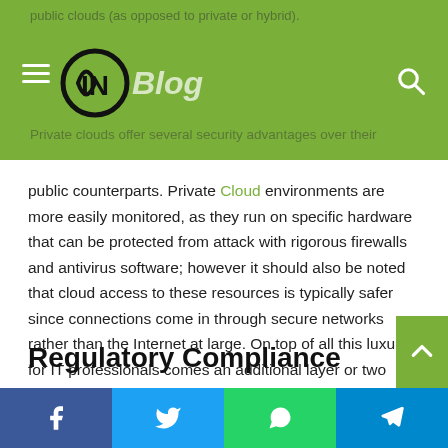public clouds (as opposed to private or hybrid). Private clouds offer several security advantages over their public counterparts. Private Cloud environments are more easily monitored...
public counterparts. Private Cloud environments are more easily monitored, as they run on specific hardware that can be protected from attack with rigorous firewalls and antivirus software; however it should also be noted that cloud access to these resources is typically safer since connections come in through secure networks rather than the Internet at large. On top of all this luxury for IT professionals comes an additional layer or two before your data enters into its system. An enterprise's own private VMs must meet certain requirements too!
Regulatory Compliance